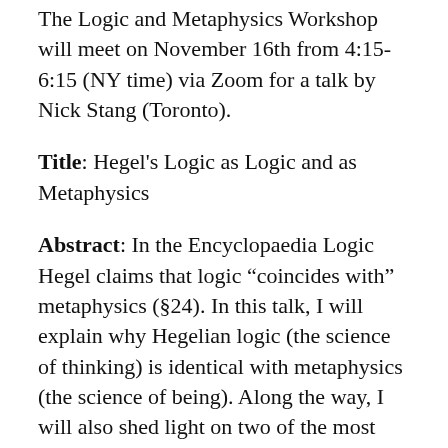The Logic and Metaphysics Workshop will meet on November 16th from 4:15-6:15 (NY time) via Zoom for a talk by Nick Stang (Toronto).
Title: Hegel's Logic as Logic and as Metaphysics
Abstract: In the Encyclopaedia Logic Hegel claims that logic “coincides with” metaphysics (§24). In this talk, I will explain why Hegelian logic (the science of thinking) is identical with metaphysics (the science of being). Along the way, I will also shed light on two of the most obscure aspects of Hegel’s logic: that it involves “movement” and that this movement works by the identification, and resolution, of contradictions